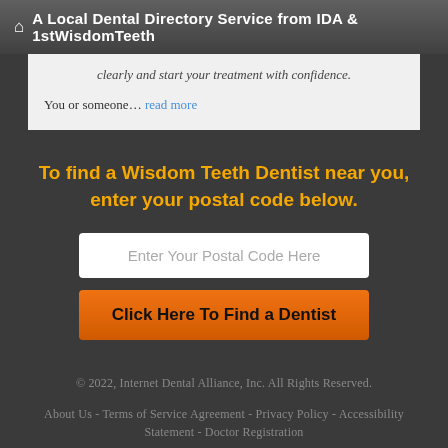A Local Dental Directory Service from IDA & 1stWisdomTeeth
clearly and start your treatment with confidence.
You or someone… read more
To find a Wisdom Teeth Dentist near you, enter your postal code below.
Enter Your Postal Code Here
Click Here To Find a Dentist
© 2022, Internet Dental Alliance, Inc. All Rights Reserved.
About Us - Terms of Service Agreement - Privacy Policy - Accessibility Statement - Doctor Registration